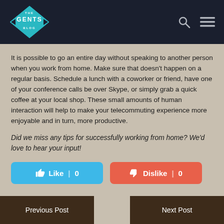THE GENTS BLOG
It is possible to go an entire day without speaking to another person when you work from home. Make sure that doesn't happen on a regular basis. Schedule a lunch with a coworker or friend, have one of your conference calls be over Skype, or simply grab a quick coffee at your local shop. These small amounts of human interaction will help to make your telecommuting experience more enjoyable and in turn, more productive.
Did we miss any tips for successfully working from home? We'd love to hear your input!
Like | 0   Dislike | 0
Previous Post   Next Post